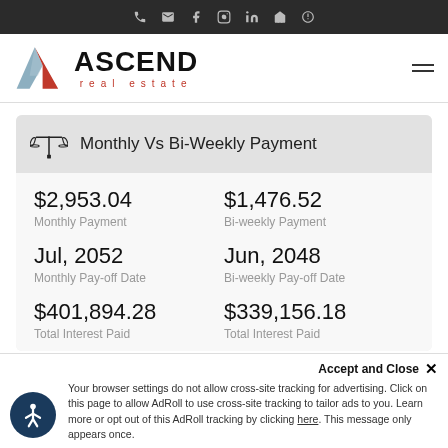Navigation bar with icons: phone, email, facebook, instagram, linkedin, home, yelp
[Figure (logo): Ascend Real Estate logo with triangular A icon and text ASCEND real estate]
Monthly Vs Bi-Weekly Payment
$2,953.04
Monthly Payment
$1,476.52
Bi-weekly Payment
Jul, 2052
Monthly Pay-off Date
Jun, 2048
Bi-weekly Pay-off Date
$401,894.28
Total Interest Paid
$339,156.18
Total Interest Paid
Your browser settings do not allow cross-site tracking for advertising. Click on this page to allow AdRoll to use cross-site tracking to tailor ads to you. Learn more or opt out of this AdRoll tracking by clicking here. This message only appears once.